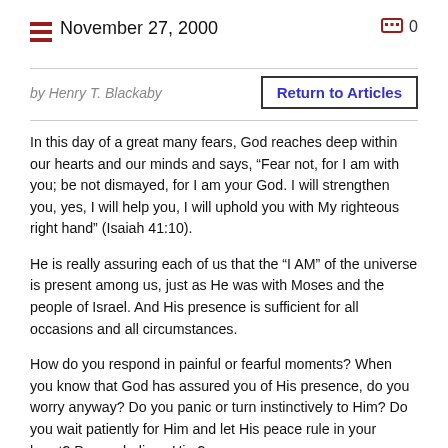November 27, 2000
by Henry T. Blackaby
Return to Articles
In this day of a great many fears, God reaches deep within our hearts and our minds and says, “Fear not, for I am with you; be not dismayed, for I am your God. I will strengthen you, yes, I will help you, I will uphold you with My righteous right hand” (Isaiah 41:10).
He is really assuring each of us that the “I AM” of the universe is present among us, just as He was with Moses and the people of Israel. And His presence is sufficient for all occasions and all circumstances.
How do you respond in painful or fearful moments? When you know that God has assured you of His presence, do you worry anyway? Do you panic or turn instinctively to Him? Do you wait patiently for Him and let His peace rule in your heart? Do you believe Him?